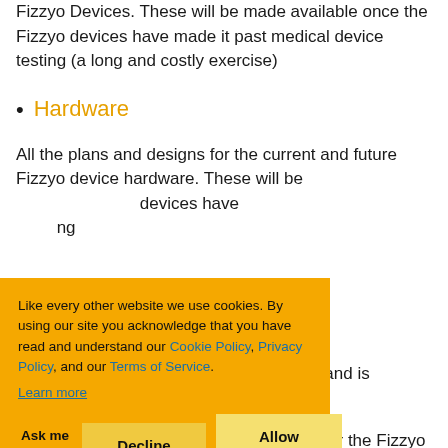Fizzyo Devices. These will be made available once the Fizzyo devices have made it past medical device testing (a long and costly exercise)
Hardware
All the plans and designs for the current and future Fizzyo device hardware. These will be made available once the Fizzyo devices have made it past medical device testing (a long and costly exercise)
e moment and is
ork libraries and projects for the Fizzyo library. There
[Figure (screenshot): Cookie consent banner with orange background. Text reads: 'Like every other website we use cookies. By using our site you acknowledge that you have read and understand our Cookie Policy, Privacy Policy, and our Terms of Service. Learn more'. Buttons: 'Ask me later', 'Decline', 'Allow cookies'.]